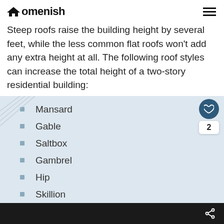Homenish
Steep roofs raise the building height by several feet, while the less common flat roofs won't add any extra height at all. The following roof styles can increase the total height of a two-story residential building:
Mansard
Gable
Saltbox
Gambrel
Hip
Skillion